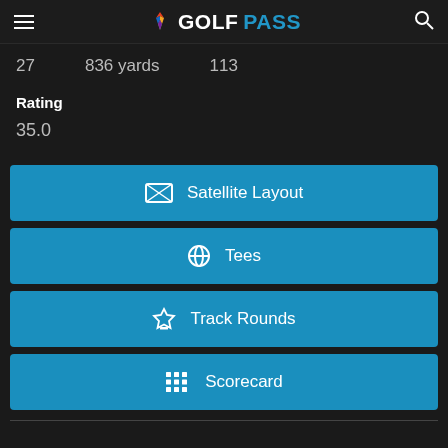GolfPass
27   836 yards   113
Rating
35.0
[Figure (screenshot): Satellite Layout button]
[Figure (screenshot): Tees button]
[Figure (screenshot): Track Rounds button]
[Figure (screenshot): Scorecard button]